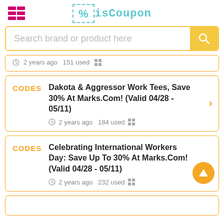isCoupon
Search brand or product here
2 years ago  151 used
Dakota & Aggressor Work Tees, Save 30% At Marks.Com! (Valid 04/28 - 05/11)
2 years ago  184 used
Celebrating International Workers Day: Save Up To 30% At Marks.Com! (Valid 04/28 - 05/11)
2 years ago  232 used